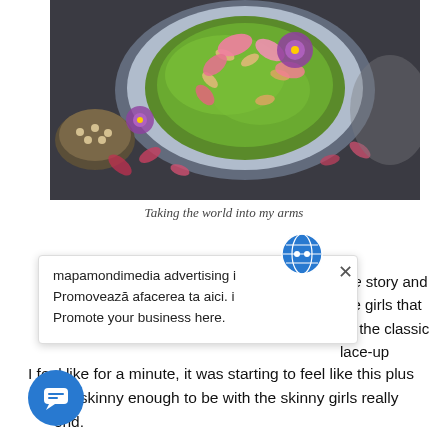[Figure (photo): Overhead food photography of a plate/bowl with green sauce, topped with pink flower petals, almonds, and purple flowers on a dark background with scattered petals]
Taking the world into my arms
[Figure (screenshot): Popup advertisement box from mapamondimedia advertising. Contains globe icon and close X button. Text: 'mapamondimedia advertising Promovează afacerea ta aici. Promote your business here.']
rue story and the girls that ell the classic lace-up
I feel like for a minute, it was starting to feel like this plus not skinny enough to be with the skinny girls really end.
[Figure (other): Blue circular chat button with speech bubble icon in bottom left corner]